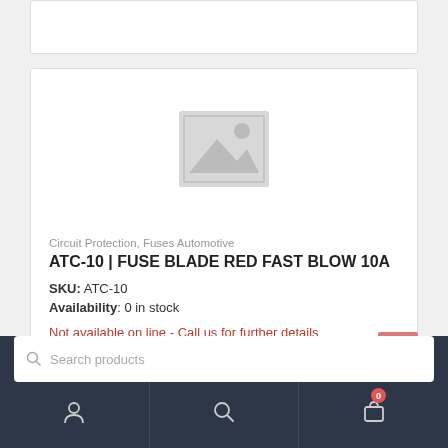[Figure (other): Top partial white card (cropped navigation/header element)]
[Figure (other): Placeholder image icon — grey square with mountain/image icon]
Circuit Protection, Fuses Automotive
ATC-10 | FUSE BLADE RED FAST BLOW 10A
SKU: ATC-10
Availability: 0 in stock
Not available on line - Call us for further details
Search products
[Figure (screenshot): Bottom navigation bar with user icon, search icon, and cart icon with badge showing 0]